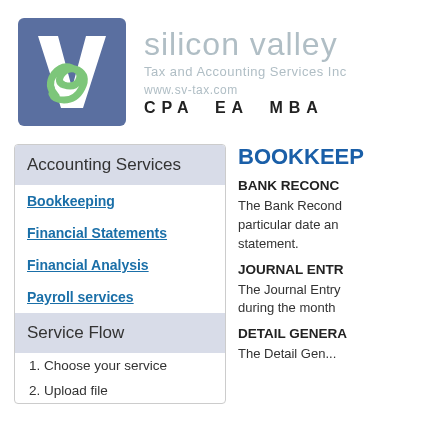[Figure (logo): Silicon Valley Tax and Accounting Services Inc logo — blue square with white V and green S]
silicon valley
Tax and Accounting Services Inc
www.sv-tax.com
CPA  EA  MBA
Accounting Services
Bookkeeping
Financial Statements
Financial Analysis
Payroll services
Service Flow
1. Choose your service
2. Upload file
BOOKKEEP
BANK RECONC
The Bank Recond particular date an statement.
JOURNAL ENTR
The Journal Entry during the month
DETAIL GENERA
The Detail Gen...